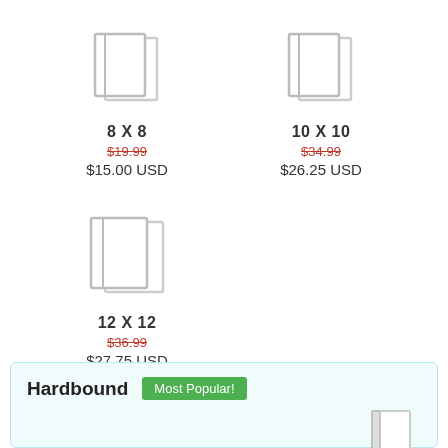[Figure (illustration): Icon of a square photo book/album for 8x8 size]
8 X 8
$19.99
$15.00 USD
[Figure (illustration): Icon of a square photo book/album for 10x10 size]
10 X 10
$34.99
$26.25 USD
[Figure (illustration): Icon of a square photo book/album for 12x12 size]
12 X 12
$36.99
$27.75 USD
Hardbound
Most Popular!